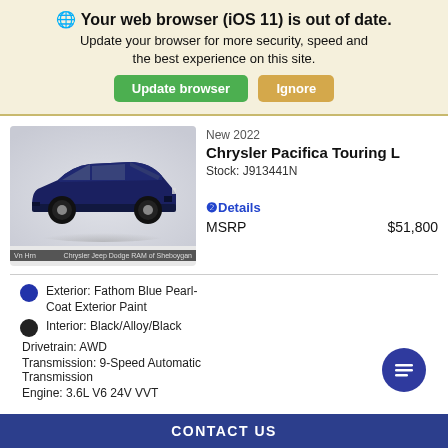🌐 Your web browser (iOS 11) is out of date. Update your browser for more security, speed and the best experience on this site.
Update browser | Ignore
[Figure (photo): Photo of a dark navy blue Chrysler Pacifica Touring L minivan on a white studio background, with dealer watermark 'Van Horn Chrysler Jeep Dodge RAM of Sheboygan']
New 2022
Chrysler Pacifica Touring L
Stock: J913441N
❷Details
MSRP  $51,800
Exterior: Fathom Blue Pearl-Coat Exterior Paint
Interior: Black/Alloy/Black
Drivetrain: AWD
Transmission: 9-Speed Automatic Transmission
Engine: 3.6L V6 24V VVT
CONTACT US